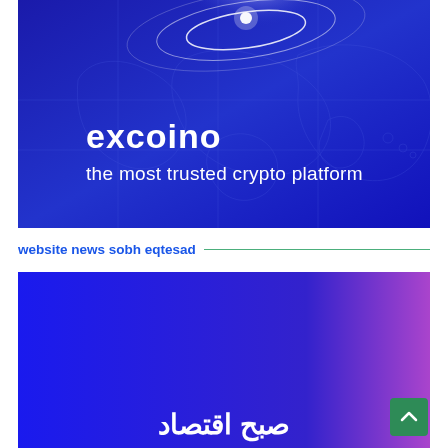[Figure (illustration): Excoino crypto platform banner with dark blue background, glowing white spiral light in upper center over a world map outline, text 'excoino' in bold white lowercase and 'the most trusted crypto platform' in white below]
website news sobh eqtesad
[Figure (illustration): Sobh Eqtesad news website banner with blue-to-purple gradient background and Arabic/Persian logo text at the bottom center]